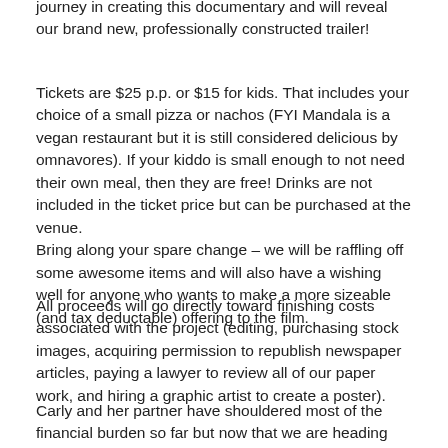journey in creating this documentary and will reveal our brand new, professionally constructed trailer!
Tickets are $25 p.p. or $15 for kids. That includes your choice of a small pizza or nachos (FYI Mandala is a vegan restaurant but it is still considered delicious by omnavores). If your kiddo is small enough to not need their own meal, then they are free! Drinks are not included in the ticket price but can be purchased at the venue.
Bring along your spare change – we will be raffling off some awesome items and will also have a wishing well for anyone who wants to make a more sizeable (and tax deductable) offering to the film.
All proceeds will go directly toward finishing costs associated with the project (editing, purchasing stock images, acquiring permission to republish newspaper articles, paying a lawyer to review all of our paper work, and hiring a graphic artist to create a poster).
Carly and her partner have shouldered most of the financial burden so far but now that we are heading into the expensive end of things, we are reaching out the community for support.